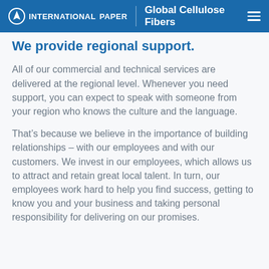INTERNATIONAL PAPER | Global Cellulose Fibers
We provide regional support.
All of our commercial and technical services are delivered at the regional level. Whenever you need support, you can expect to speak with someone from your region who knows the culture and the language.
That’s because we believe in the importance of building relationships – with our employees and with our customers. We invest in our employees, which allows us to attract and retain great local talent. In turn, our employees work hard to help you find success, getting to know you and your business and taking personal responsibility for delivering on our promises.